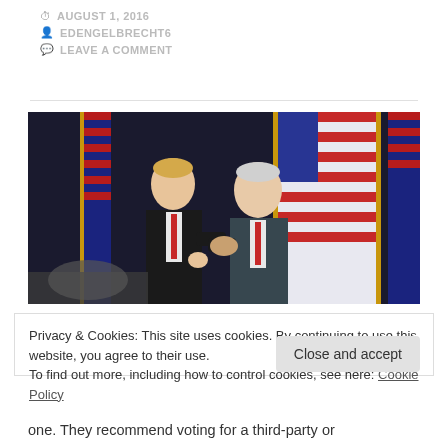AUGUST 1, 2016
EDENGELBRECHT6
LEAVE A COMMENT
[Figure (photo): Two men in suits shaking hands and smiling on a stage with American flags in the background]
Privacy & Cookies: This site uses cookies. By continuing to use this website, you agree to their use.
To find out more, including how to control cookies, see here: Cookie Policy
Close and accept
one. They recommend voting for a third-party or